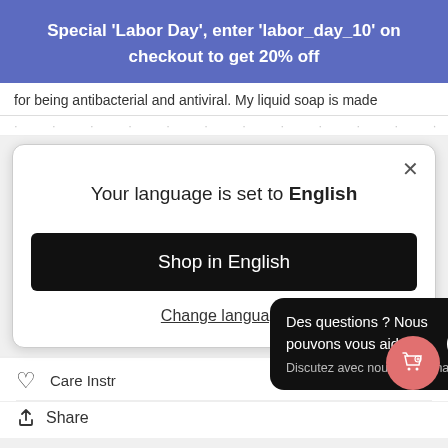Special 'Labor Day', enter 'labor_day_10' on checkout to get 20% off
for being antibacterial and antiviral. My liquid soap is made
· · · · · · · · · · · · · ·
[Figure (screenshot): Modal dialog showing 'Your language is set to English' with a black 'Shop in English' button and 'Change language' underlined link, plus a close X button]
Care Instr
Share
[Figure (screenshot): Chat tooltip in French: 'Des questions ? Nous pouvons vous aider. Discutez avec nous maintenant.' with a blue chat circle icon]
[Figure (screenshot): Red circular cart/bag button with heart icon, bottom right corner]